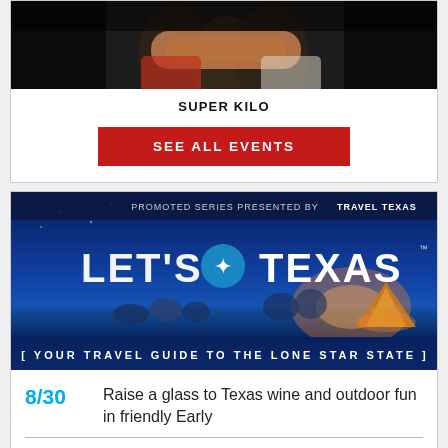[Figure (photo): Cropped photo of people with hands clasped, dark background]
SUPER KILO
SEE ALL EVENTS
[Figure (infographic): Let's Texas banner - Promoted series presented by Travel Texas. Your travel guide to the Lone Star State. Shows people sitting by water at sunset with camping tent.]
8/30  Raise a glass to Texas wine and outdoor fun in friendly Early
8/30  Lasso up a great getaway to Bandera, the Cowboy Capital of the World